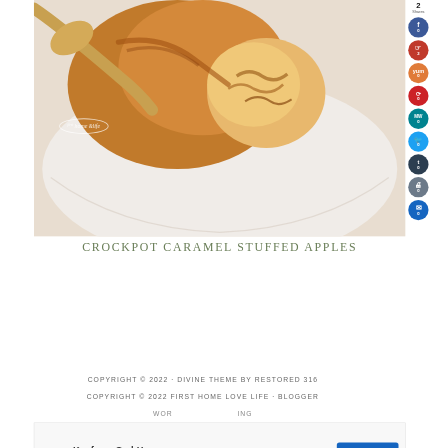[Figure (photo): Close-up food photo of crockpot caramel stuffed apples on a white plate with a spoon, warm golden-brown tones. Watermark overlay reads 'first home life' in an oval.]
CROCKPOT CARAMEL STUFFED APPLES
COPYRIGHT © 2022 · DIVINE THEME BY RESTORED 316
COPYRIGHT © 2022 FIRST HOME LOVE LIFE · BLOGGER
Ad: Kaufcom GmbH – Babsy Baby singing Twinkle – OPEN